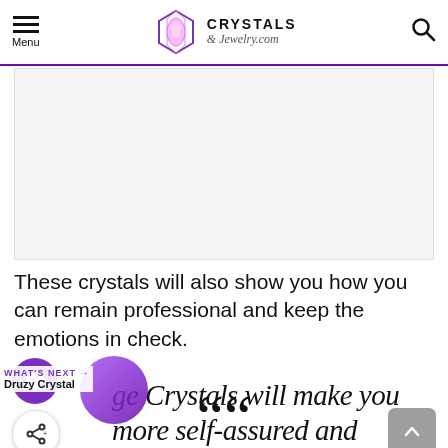CRYSTALS & Jewelry.com
[Figure (photo): Image placeholder area, light gray background]
These crystals will also show you how you can remain professional and keep the emotions in check.
““
WHAT'S NEXT → Druzy Crystal
ge Crystals will make you more self-assured and